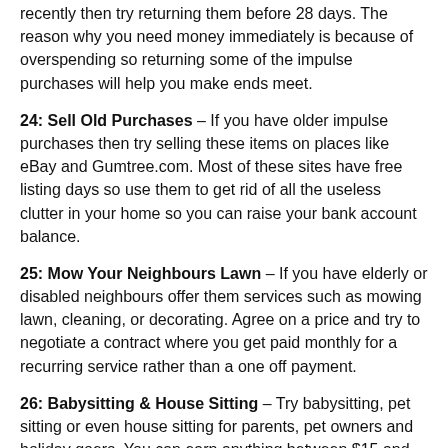recently then try returning them before 28 days. The reason why you need money immediately is because of overspending so returning some of the impulse purchases will help you make ends meet.
24: Sell Old Purchases – If you have older impulse purchases then try selling these items on places like eBay and Gumtree.com. Most of these sites have free listing days so use them to get rid of all the useless clutter in your home so you can raise your bank account balance.
25: Mow Your Neighbours Lawn – If you have elderly or disabled neighbours offer them services such as mowing lawn, cleaning, or decorating. Agree on a price and try to negotiate a contract where you get paid monthly for a recurring service rather than a one off payment.
26: Babysitting & House Sitting – Try babysitting, pet sitting or even house sitting for parents, pet owners and holiday goers. You can earn anything between $15 and £50 per hour and even more for house sitting which means relocating for a period of time.